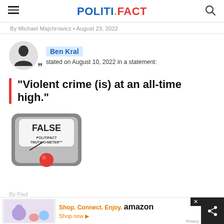POLITIFACT
By Michael Majchrowicz • August 23, 2022
Ben Kral stated on August 10, 2022 in a statement:
“Violent crime (is) at an all-time high.”
[Figure (illustration): PolitiFact Truth-O-Meter gauge showing FALSE rating with red indicator]
By Paul
Shop. Connect. Enjoy. amazon Shop now ► Privacy